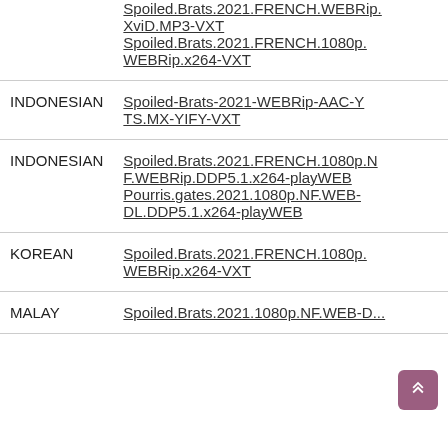| Language | Release |
| --- | --- |
|  | Spoiled.Brats.2021.FRENCH.WEBRip.XviD.MP3-VXT
Spoiled.Brats.2021.FRENCH.1080p.WEBRip.x264-VXT |
| INDONESIAN | Spoiled-Brats-2021-WEBRip-AAC-YTS.MX-YIFY-VXT |
| INDONESIAN | Spoiled.Brats.2021.FRENCH.1080p.NF.WEBRip.DDP5.1.x264-playWEB
Pourris.gates.2021.1080p.NF.WEB-DL.DDP5.1.x264-playWEB |
| KOREAN | Spoiled.Brats.2021.FRENCH.1080p.WEBRip.x264-VXT |
| MALAY | Spoiled.Brats.2021.1080p.NF.WEB-D... |